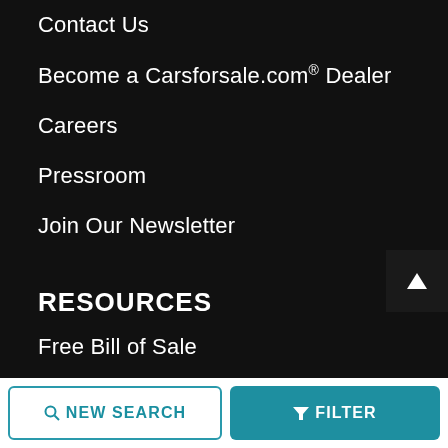Contact Us
Become a Carsforsale.com® Dealer
Careers
Pressroom
Join Our Newsletter
RESOURCES
Free Bill of Sale
Financing
Auto Loan Calculator
Vehicle History Report
NEW SEARCH   FILTER